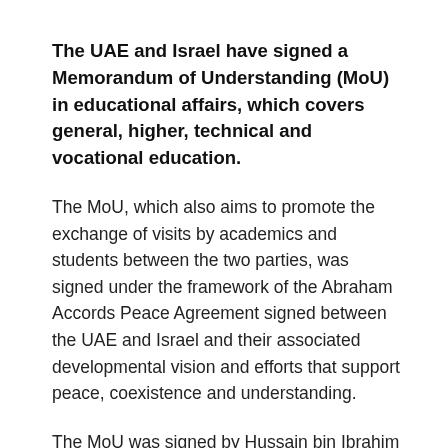The UAE and Israel have signed a Memorandum of Understanding (MoU) in educational affairs, which covers general, higher, technical and vocational education.
The MoU, which also aims to promote the exchange of visits by academics and students between the two parties, was signed under the framework of the Abraham Accords Peace Agreement signed between the UAE and Israel and their associated developmental vision and efforts that support peace, coexistence and understanding.
The MoU was signed by Hussain bin Ibrahim Al Hammadi, Minister of Education, and Dr Yifat Shaha-Biton, Minister of Education of Israel, in the presence